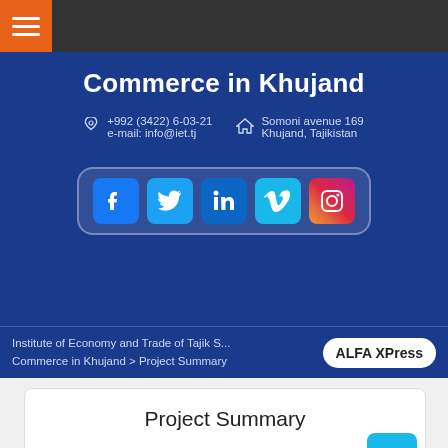[Figure (screenshot): Dark top navigation bar with orange hamburger menu button on the left]
Commerce in Khujand
+992 (3422) 6-03-21
e-mail: info@iet.tj
Somoni avenue 169
Khujand, Tajikistan
[Figure (other): Social media icons row: Facebook, Twitter, LinkedIn, Vimeo, Instagram on blue background with rounded rectangle border]
Institute of Economy and Trade of Tajik S... Commerce in Khujand > Project Summary
[Figure (logo): ALFA XPress badge/logo in white rounded rectangle]
Project Summary
[Figure (logo): World Bank logo, Tajikistan Ministry seal, and IFC logo at bottom of page]